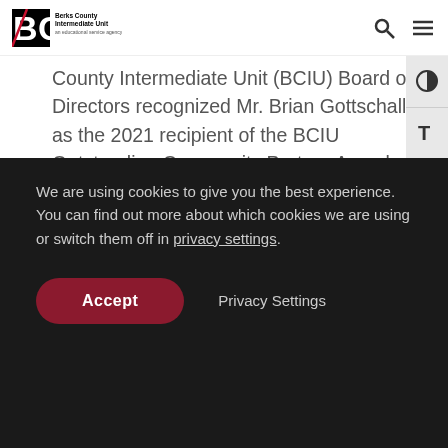[Figure (logo): BCIU Berks County Intermediate Unit logo - an educational service agency]
County Intermediate Unit (BCIU) Board of Directors recognized Mr. Brian Gottschall as the 2021 recipient of the BCIU Outstanding Community Partner Award at their September 16, 2021, Board meeting. This is the seventh year this annual award has been
We are using cookies to give you the best experience. You can find out more about which cookies we are using or switch them off in privacy settings.